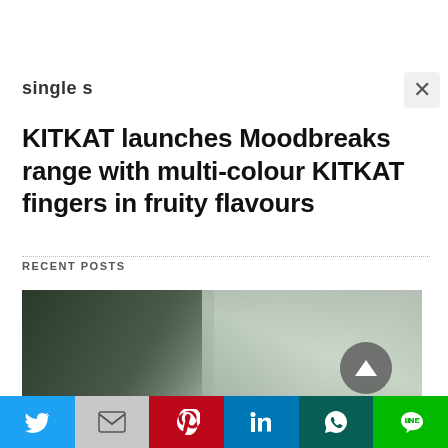single s
KITKAT launches Moodbreaks range with multi-colour KITKAT fingers in fruity flavours
RECENT POSTS
[Figure (photo): Aerial or landscape photograph of mountains/hills covered in trees and mist, shown in greyscale tones. A circular scroll-to-top button with a triangle/arrow icon overlays the bottom-right of the image.]
[Figure (infographic): Social media sharing bar with six buttons: Twitter (blue bird icon), Gmail (grey M icon), Pinterest (red P icon), LinkedIn (blue in icon), WhatsApp (dark teal phone/WhatsApp icon), LINE (green LINE icon).]